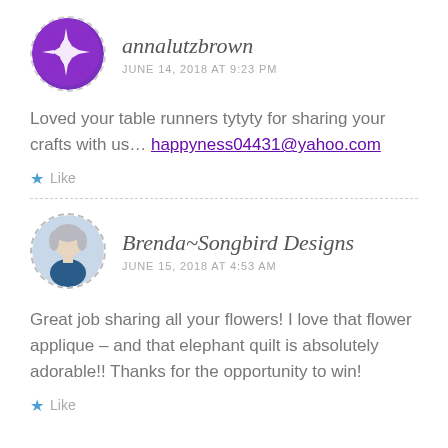[Figure (illustration): Purple circular avatar with white quilt/flower pattern for user annalutzbrown]
annalutzbrown
JUNE 14, 2018 AT 9:23 PM
Loved your table runners tytyty for sharing your crafts with us… happyness04431@yahoo.com
Like
[Figure (photo): Circular photo avatar of Brenda, a woman with light hair]
Brenda~Songbird Designs
JUNE 15, 2018 AT 4:53 AM
Great job sharing all your flowers! I love that flower applique – and that elephant quilt is absolutely adorable!! Thanks for the opportunity to win!
Like